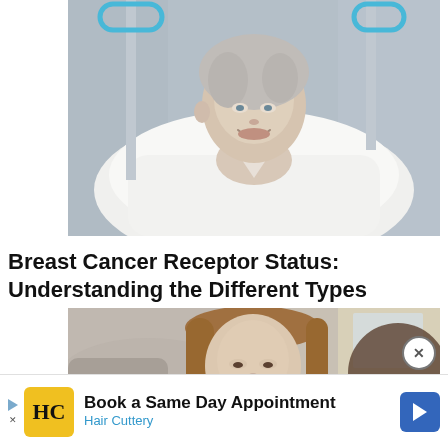[Figure (photo): Older woman with short gray hair lying in a hospital bed with white pillows and bedding, blue IV poles visible, looking upward and smiling]
Breast Cancer Receptor Status: Understanding the Different Types
[Figure (photo): Young woman with long brown hair in a blurred indoor setting, appears to be listening or in conversation]
Book a Same Day Appointment
Hair Cuttery